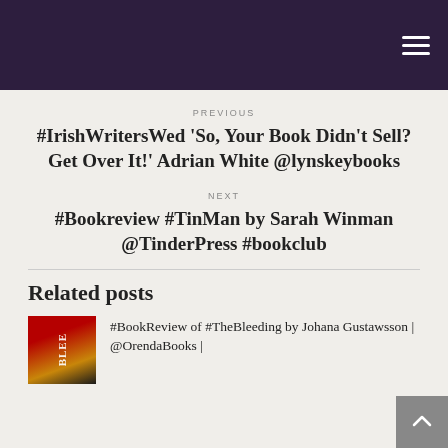Navigation menu icon (hamburger)
PREVIOUS
#IrishWritersWed 'So, Your Book Didn't Sell? Get Over It!' Adrian White @lynskeybooks
NEXT
#Bookreview #TinMan by Sarah Winman @TinderPress #bookclub
Related posts
#BookReview of #TheBleeding by Johana Gustawsson | @OrendaBooks |